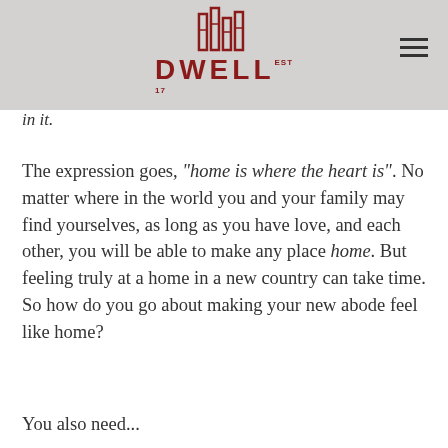DWELL
in it.
The expression goes, “home is where the heart is”. No matter where in the world you and your family may find yourselves, as long as you have love, and each other, you will be able to make any place home. But feeling truly at a home in a new country can take time. So how do you go about making your new abode feel like home?
You also need...